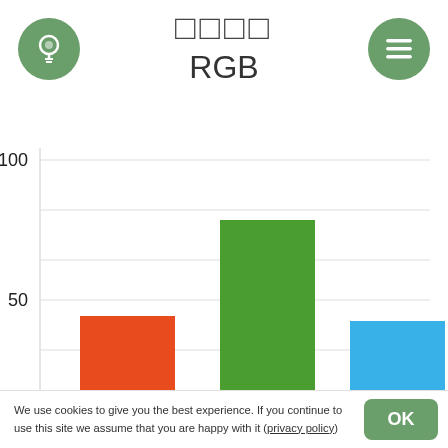[Figure (other): Green circle icon with lightbulb symbol, top-left header]
□□□□
RGB
[Figure (other): Green circle icon with hamburger menu lines, top-right header]
[Figure (bar-chart): RGB]
We use cookies to give you the best experience. If you continue to use this site we assume that you are happy with it (privacy policy)